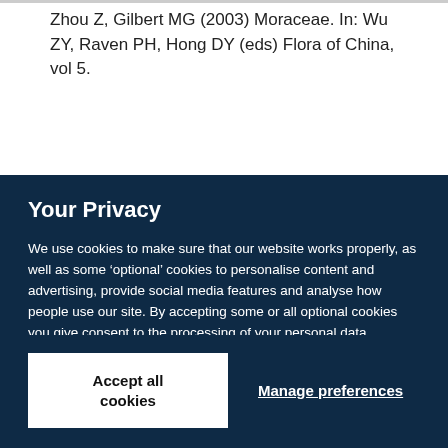Zhou Z, Gilbert MG (2003) Moraceae. In: Wu ZY, Raven PH, Hong DY (eds) Flora of China, vol 5.
Your Privacy
We use cookies to make sure that our website works properly, as well as some ‘optional’ cookies to personalise content and advertising, provide social media features and analyse how people use our site. By accepting some or all optional cookies you give consent to the processing of your personal data, including transfer to third parties, some in countries outside of the European Economic Area that do not offer the same data protection standards as the country where you live. You can decide which optional cookies to accept by clicking on ‘Manage Settings’, where you can also find more information about how your personal data is processed. Further information can be found in our privacy policy.
Accept all cookies
Manage preferences